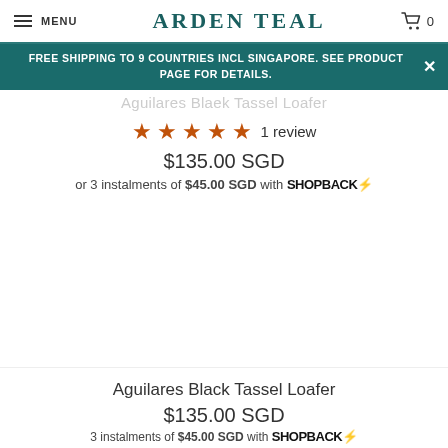MENU   ARDEN TEAL   0
FREE SHIPPING TO 9 COUNTRIES INCL SINGAPORE. SEE PRODUCT PAGE FOR DETAILS.
Aguilares Black Tassel Loafer
★★★★★ 1 review
$135.00 SGD
or 3 instalments of $45.00 SGD with SHOPBACK
Aguilares Black Tassel Loafer
$135.00 SGD
3 instalments of $45.00 SGD with SHOPBACK